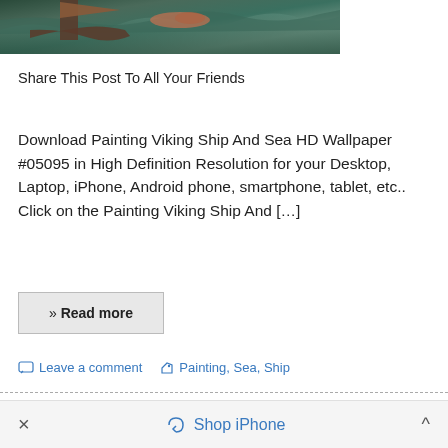[Figure (photo): Partial view of a Viking ship painting on rough sea, cropped at top]
Share This Post To All Your Friends
Download Painting Viking Ship And Sea HD Wallpaper #05095 in High Definition Resolution for your Desktop, Laptop, iPhone, Android phone, smartphone, tablet, etc.. Click on the Painting Viking Ship And […]
» Read more
Leave a comment
Painting, Sea, Ship
Shop iPhone